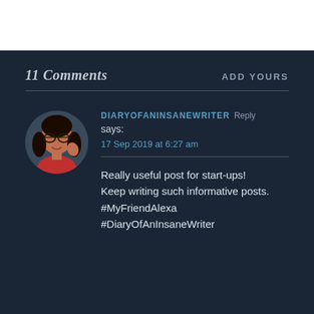11 Comments
ADD YOURS
[Figure (photo): Circular avatar photo of a woman with glasses, wearing a red outfit, smiling]
DIARYOFANINSANEWRITER Reply says: 17 Sep 2019 at 6:27 am
Really useful post for start-ups! Keep writing such informative posts. #MyFriendAlexa #DiaryOfAnInsaneWriter